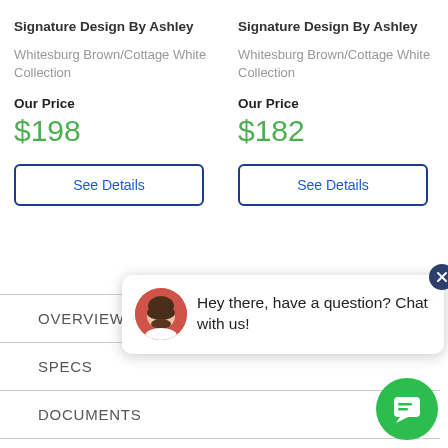Signature Design By Ashley
Whitesburg Brown/Cottage White Collection
Our Price
$198
See Details
Signature Design By Ashley
Whitesburg Brown/Cottage White Collection
Our Price
$182
See Details
OVERVIEW
SPECS
DOCUMENTS
VIDEOS
Hey there, have a question? Chat with us!